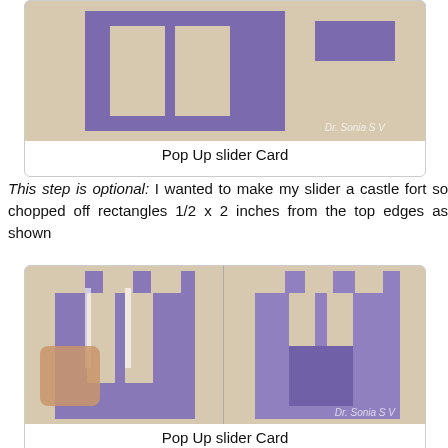[Figure (photo): Purple paper pop-up slider card pieces arranged on a beige surface, showing an H-shaped slider component and rectangular pieces. Watermark reads Dr. Sonia S V.]
Pop Up slider Card
This step is optional: I wanted to make my slider a castle fort so chopped off rectangles 1/2 x 2 inches from the top edges as shown
[Figure (photo): Two-panel photo showing purple paper pieces being manipulated to form a castle fort slider shape with battlements cut from the top edges. A hand is visible on the left panel. Watermark reads Dr. Sonia S V.]
Pop Up slider Card
Attach the lower folded tab of the slider to the back of the vertical cut flap as shown.
[Figure (photo): Purple paper pop-up slider card showing the lower folded tab being attached to the back of the vertical cut flap.]